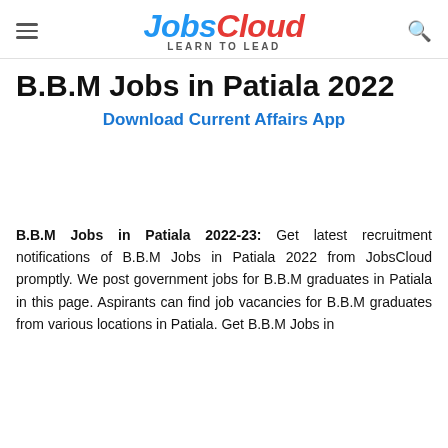JobsCloud LEARN TO LEAD
B.B.M Jobs in Patiala 2022
Download Current Affairs App
B.B.M Jobs in Patiala 2022-23: Get latest recruitment notifications of B.B.M Jobs in Patiala 2022 from JobsCloud promptly. We post government jobs for B.B.M graduates in Patiala in this page. Aspirants can find job vacancies for B.B.M graduates from various locations in Patiala. Get B.B.M Jobs in